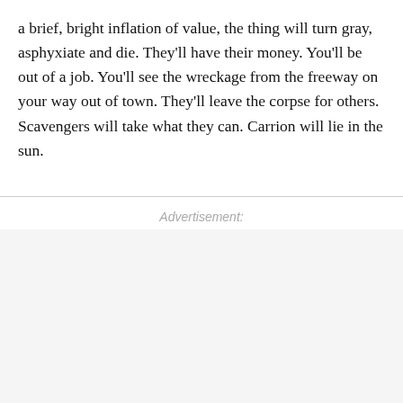a brief, bright inflation of value, the thing will turn gray, asphyxiate and die. They'll have their money. You'll be out of a job. You'll see the wreckage from the freeway on your way out of town. They'll leave the corpse for others. Scavengers will take what they can. Carrion will lie in the sun.
Advertisement: